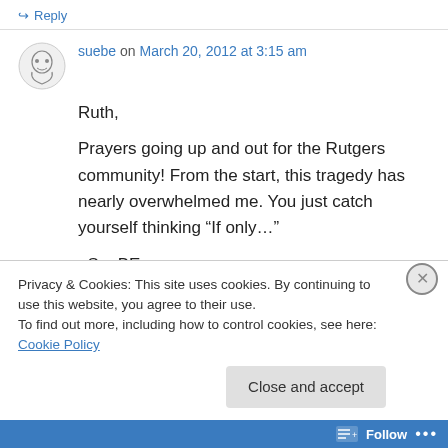↳ Reply
suebe on March 20, 2012 at 3:15 am
Ruth,

Prayers going up and out for the Rutgers community! From the start, this tragedy has nearly overwhelmed me. You just catch yourself thinking “If only…”

–SueBE
↳ Reply
Privacy & Cookies: This site uses cookies. By continuing to use this website, you agree to their use.
To find out more, including how to control cookies, see here: Cookie Policy
Close and accept